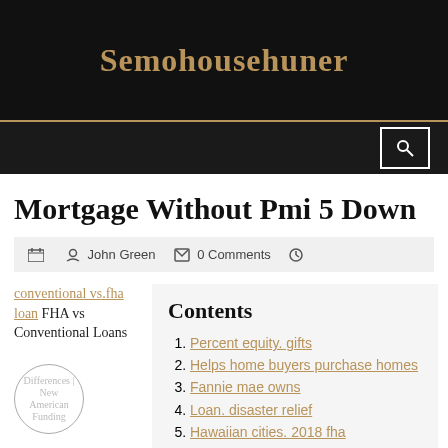Semohousehuner
Mortgage Without Pmi 5 Down
John Green  0 Comments
conventional vs.fha loan FHA vs Conventional Loans Differences | New American Funding
Contents
Percent equity. gifts
Helps home buyers purchase homes
Fannie mae owns
Loan. disaster relief
Hawaiian cities. 2018 fha
Include mortgage insurance (mip